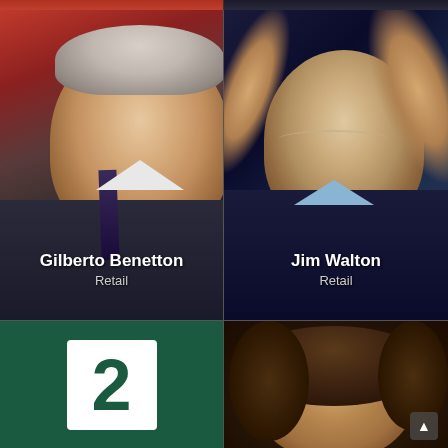[Figure (photo): Portrait photo of Gilberto Benetton, an elderly man with white hair wearing a dark suit, in front of a red background]
Gilberto Benetton
Retail
[Figure (photo): Portrait photo of Jim Walton, an elderly man with glasses wearing a dark suit with hands raised, dark blue background]
Jim Walton
Retail
[Figure (photo): Green background with a white sign showing the number 2 in dark green]
[Figure (photo): Portrait photo of a woman with curly brown hair against a dark background]